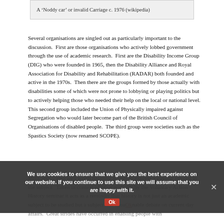A ‘Noddy car’ or invalid Carriage c. 1976 (wikipedia)
Several organisations are singled out as particularly important to the discussion.  First are those organisations who actively lobbed government through the use of academic research.  First are the Disability Income Group (DIG) who were founded in 1965, then the Disability Alliance and Royal Association for Disability and Rehabilitation (RADAR) both founded and active in the 1970s.  Then there are the groups formed by those actually with disabilities some of which were not prone to lobbying or playing politics but to actively helping those who needed their help on the local or national level.  This second group included the Union of Physically impaired against Segregation who would later become part of the British Council of Organisations of disabled people.  The third group were societies such as the Spastics Society (now renamed SCOPE).
Mills and... also well worth listening if only to express a passing interest in the subject.  Taken in context of other podcasts by the Voluntary Action History seminar it acts as a reminder that history is not just an academic subject to be studied but a subject that should enable debate on current day affairs.  Great strides have occurred in enabling people with
We use cookies to ensure that we give you the best experience on our website. If you continue to use this site we will assume that you are happy with it.